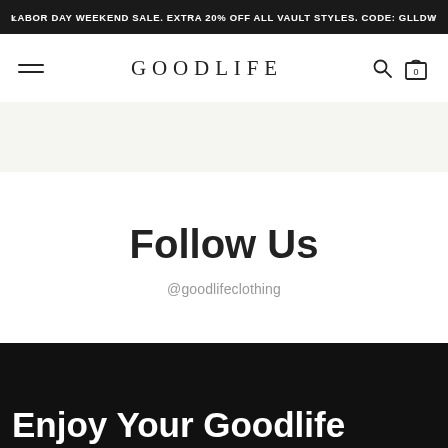LABOR DAY WEEKEND SALE. EXTRA 20% OFF ALL VAULT STYLES. CODE: GLLDW
GOODLIFE
Follow Us
@goodlifeclothing
Enjoy Your Goodlife